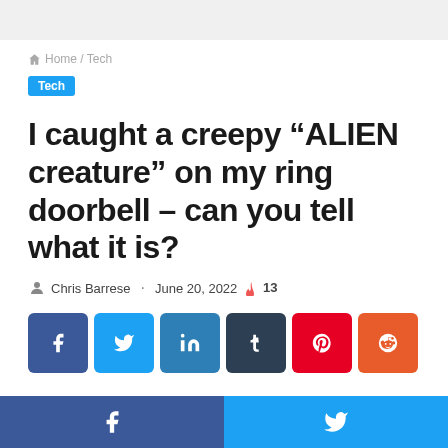Home / Tech
Tech
I caught a creepy “ALIEN creature” on my ring doorbell – can you tell what it is?
Chris Barrese · June 20, 2022 🔥 13